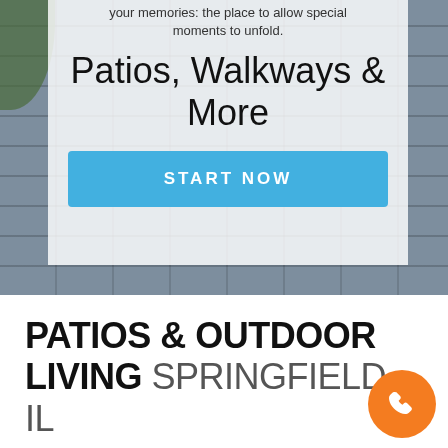[Figure (photo): Outdoor stone wall/patio landscape photo with a semi-transparent white overlay box containing text and a call-to-action button]
your memories: the place to allow special moments to unfold.
Patios, Walkways & More
START NOW
PATIOS & OUTDOOR LIVING SPRINGFIELD IL
[Figure (other): Orange circular phone call button in bottom right corner]